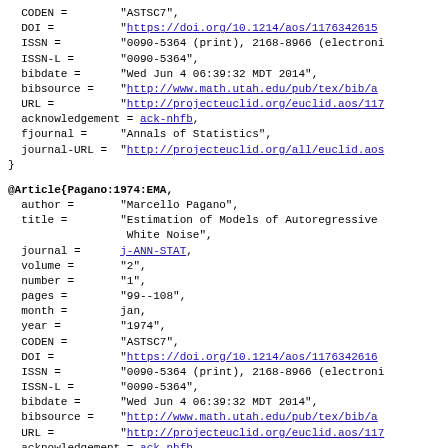CODEN = "ASTSC7",
  DOI = "https://doi.org/10.1214/aos/1176342615",
  ISSN = "0090-5364 (print), 2168-8966 (electronic)",
  ISSN-L = "0090-5364",
  bibdate = "Wed Jun 4 06:39:32 MDT 2014",
  bibsource = "http://www.math.utah.edu/pub/tex/bib/a",
  URL = "http://projecteuclid.org/euclid.aos/117",
  acknowledgement = ack-nhfb,
  fjournal = "Annals of Statistics",
  journal-URL = "http://projecteuclid.org/all/euclid.aos"
}
@Article{Pagano:1974:EMA,
  author = "Marcello Pagano",
  title = "Estimation of Models of Autoregressive White Noise",
  journal = j-ANN-STAT,
  volume = "2",
  number = "1",
  pages = "99--108",
  month = jan,
  year = "1974",
  CODEN = "ASTSC7",
  DOI = "https://doi.org/10.1214/aos/1176342616",
  ISSN = "0090-5364 (print), 2168-8966 (electronic)",
  ISSN-L = "0090-5364",
  bibdate = "Wed Jun 4 06:39:32 MDT 2014",
  bibsource = "http://www.math.utah.edu/pub/tex/bib/a",
  URL = "http://projecteuclid.org/euclid.aos/117",
  acknowledgement = ack-nhfb,
  fjournal = "Annals of Statistics",